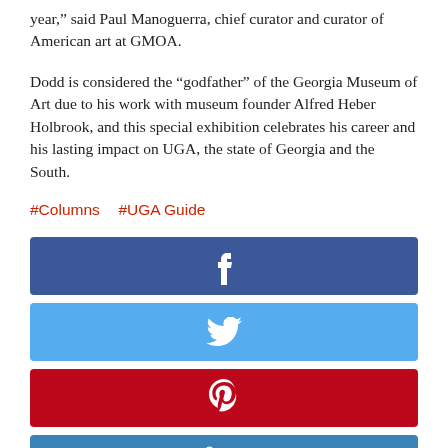year,” said Paul Manoguerra, chief curator and curator of American art at GMOA.
Dodd is considered the “godfather” of the Georgia Museum of Art due to his work with museum founder Alfred Heber Holbrook, and this special exhibition celebrates his career and his lasting impact on UGA, the state of Georgia and the South.
#Columns  #UGA Guide
[Figure (infographic): Facebook share button (dark blue with white 'f' icon)]
[Figure (infographic): Twitter share button (light blue with white bird icon)]
[Figure (infographic): Pinterest share button (red with white 'p' icon)]
[Figure (infographic): LinkedIn share button (medium blue with white 'in' icon)]